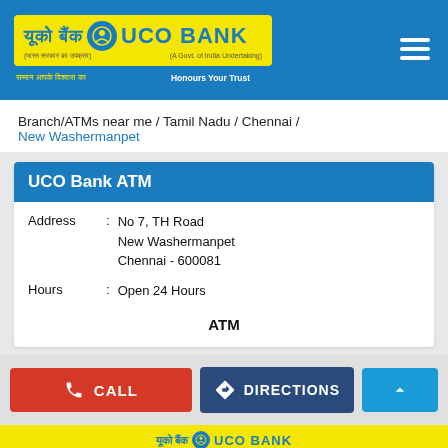[Figure (logo): UCO Bank logo with Hindi and English text on yellow background, displayed in blue header with hamburger menu]
Branch/ATMs near me / Tamil Nadu / Chennai / New Washermanpet
UCO Bank ATM
| Address | : | No 7, TH Road
New Washermanpet
Chennai - 600081 |
| Hours | : | Open 24 Hours |
ATM
CALL
DIRECTIONS
[Figure (logo): UCO Bank footer logo bar with yellow background and blue tagline bar]